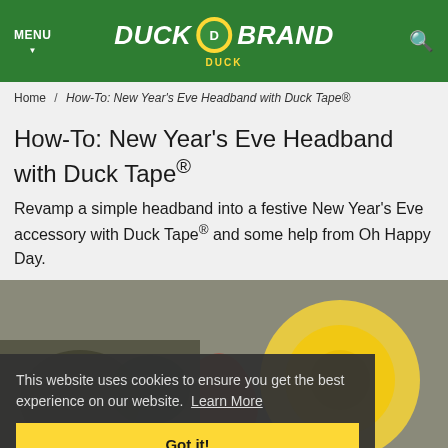MENU | DUCK BRAND | Search
Home / How-To: New Year's Eve Headband with Duck Tape®
How-To: New Year's Eve Headband with Duck Tape®
Revamp a simple headband into a festive New Year's Eve accessory with Duck Tape® and some help from Oh Happy Day.
[Figure (photo): Photo of New Year's Eve headband craft project using Duck Tape, partially obscured by cookie consent overlay]
This website uses cookies to ensure you get the best experience on our website. Learn More
Got it!